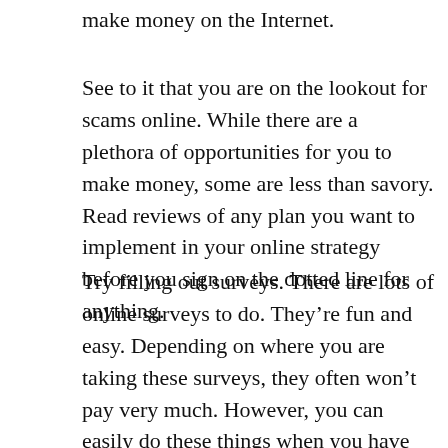make money on the Internet.
See to it that you are on the lookout for scams online. While there are a plethora of opportunities for you to make money, some are less than savory. Read reviews of any plan you want to implement in your online strategy before you sign on the dotted line for anything.
Try filling out surveys. There are lots of online surveys to do. They’re fun and easy. Depending on where you are taking these surveys, they often won’t pay very much. However, you can easily do these things when you have some down time, and you can make quite a bit of money when things add up.